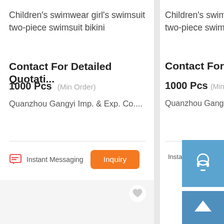Children's swimwear girl's swimsuit two-piece swimsuit bikini
Contact For Detailed Quotati...
1000 Pcs (Min Order)
Quanzhou Gangyi Imp. & Exp. Co....
Instant Messaging
Inquiry
Children's swimwear girl's swimsuit two-piece swimsuit
Contact For Det...
1000 Pcs (Min Orde...
Quanzhou Gangyi I...
Instant Me...
[Figure (screenshot): E-commerce product listing page showing two children's swimwear product cards with pricing, minimum order info, supplier name, instant messaging and inquiry action buttons. Right side has blue customer service and scroll-to-top overlay buttons.]